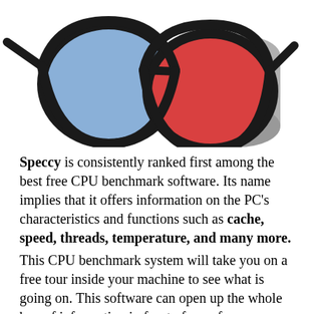[Figure (illustration): 3D glasses illustration with blue left lens and red right lens, black frame, with a gray cylindrical object behind them]
Speccy is consistently ranked first among the best free CPU benchmark software. Its name implies that it offers information on the PC's characteristics and functions such as cache, speed, threads, temperature, and many more.
This CPU benchmark system will take you on a free tour inside your machine to see what is going on. This software can open up the whole box of information in front of you, from studying a fast summary to delving deeper into minute